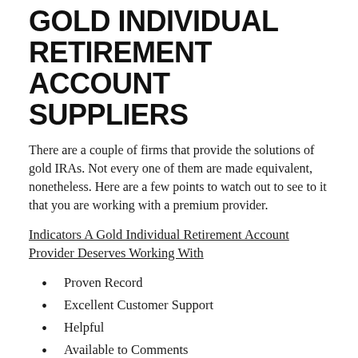GOLD INDIVIDUAL RETIREMENT ACCOUNT SUPPLIERS
There are a couple of firms that provide the solutions of gold IRAs. Not every one of them are made equivalent, nonetheless. Here are a few points to watch out to see to it that you are working with a premium provider.
Indicators A Gold Individual Retirement Account Provider Deserves Working With
Proven Record
Excellent Customer Support
Helpful
Available to Comments
[Figure (photo): Dark photograph strip at bottom of page, partially visible]